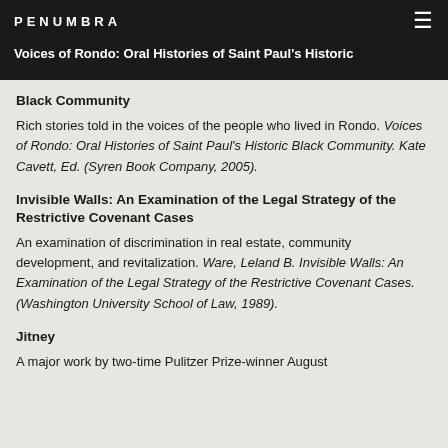PENUMBRA
Voices of Rondo: Oral Histories of Saint Paul's Historic Black Community
Black Community
Rich stories told in the voices of the people who lived in Rondo. Voices of Rondo: Oral Histories of Saint Paul's Historic Black Community. Kate Cavett, Ed. (Syren Book Company, 2005).
Invisible Walls: An Examination of the Legal Strategy of the Restrictive Covenant Cases
An examination of discrimination in real estate, community development, and revitalization. Ware, Leland B. Invisible Walls: An Examination of the Legal Strategy of the Restrictive Covenant Cases. (Washington University School of Law, 1989).
Jitney
A major work by two-time Pulitzer Prize-winner August